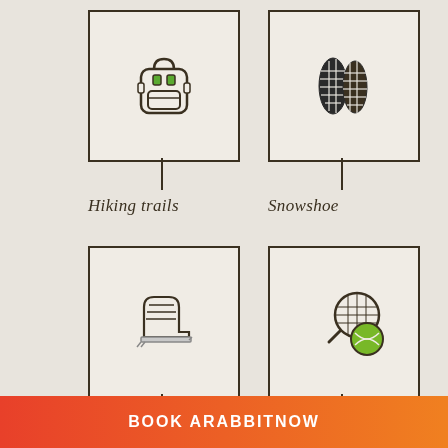[Figure (infographic): Four icon boxes arranged in a 2x2 grid showing outdoor/sport activities: Hiking trails (backpack icon), Snowshoe (snowshoe icon), Skating rink (ice skate icon), 2 tennis courts (tennis racket and ball icon). Partially visible fifth and sixth boxes at the bottom.]
Hiking trails
Snowshoe
Skating rink
2 tennis courts
BOOK ARABBITNOW